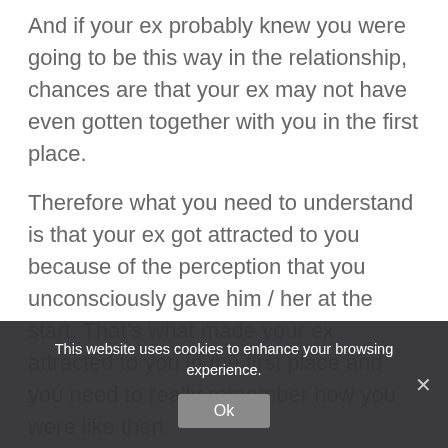And if your ex probably knew you were going to be this way in the relationship, chances are that your ex may not have even gotten together with you in the first place.
Therefore what you need to understand is that your ex got attracted to you because of the perception that you unconsciously gave him / her at the start. That's what made your ex attracted to you in the first place and you need to really remember how you were like then.
With that perception in mind, you need to seek to
This website uses cookies to enhance your browsing experience.
Ok